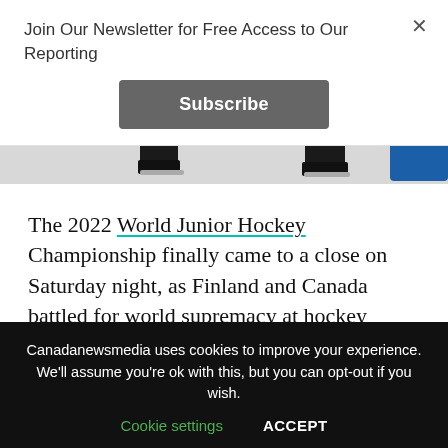Join Our Newsletter for Free Access to Our Reporting
Subscribe
[Figure (photo): Cropped photo of hockey players' skates on ice, black and white]
The 2022 World Junior Hockey Championship finally came to a close on Saturday night, as Finland and Canada battled for world supremacy at hockey among under-20 players. If you were to predict the result solely on their round robin match, you'd have expected a
Canadanewsmedia uses cookies to improve your experience. We'll assume you're ok with this, but you can opt-out if you wish.
Cookie settings   ACCEPT